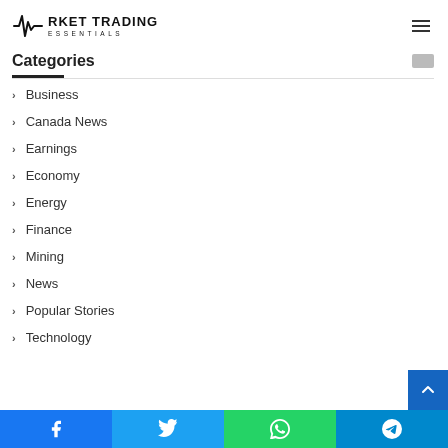[Figure (logo): Market Trading Essentials logo with heartbeat/pulse icon]
Categories
Business
Canada News
Earnings
Economy
Energy
Finance
Mining
News
Popular Stories
Technology
[Figure (infographic): Social sharing bar with Facebook, Twitter, WhatsApp, Telegram icons]